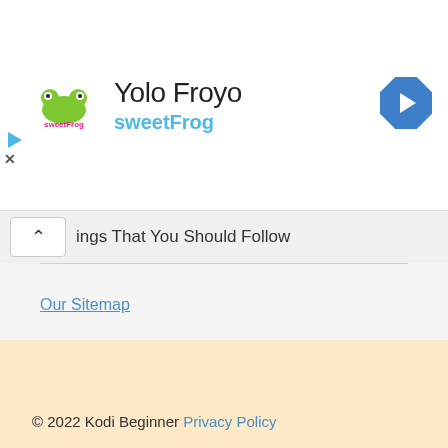[Figure (screenshot): sweetFrog advertisement banner with logo, 'Yolo Froyo' title, 'sweetFrog' subtitle in cyan, and a blue diamond navigation arrow on the right]
ings That You Should Follow
Our Sitemap
RSS feed RSS - Posts
© 2022 Kodi Beginner Privacy Policy